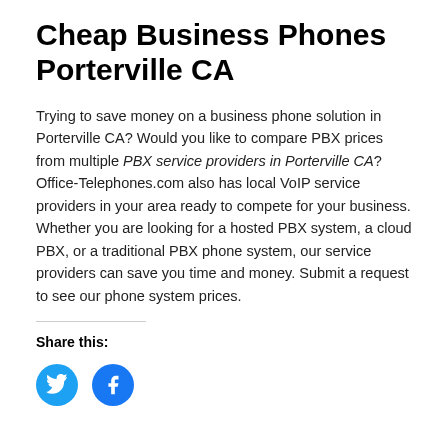Cheap Business Phones Porterville CA
Trying to save money on a business phone solution in Porterville CA? Would you like to compare PBX prices from multiple PBX service providers in Porterville CA? Office-Telephones.com also has local VoIP service providers in your area ready to compete for your business. Whether you are looking for a hosted PBX system, a cloud PBX, or a traditional PBX phone system, our service providers can save you time and money. Submit a request to see our phone system prices.
Share this: